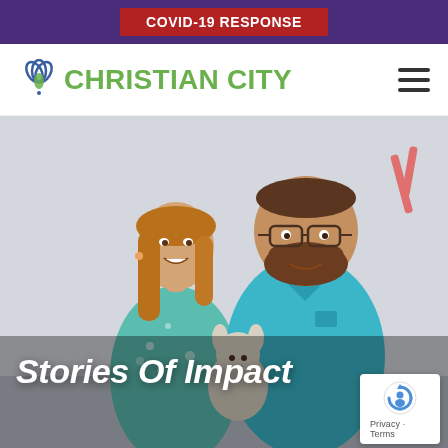COVID-19 RESPONSE
[Figure (logo): Christian City logo with stylized leaf/petal icon in blue and green, and text CHRISTIAN CITY in olive green]
[Figure (photo): A smiling young woman in a teal floral top and a bearded man in a blue polo shirt holding a stuffed animal lamb, standing in a light-colored room. Text overlay reads 'Stories Of Impact'. A reCAPTCHA badge appears in the lower right corner.]
Stories Of Impact